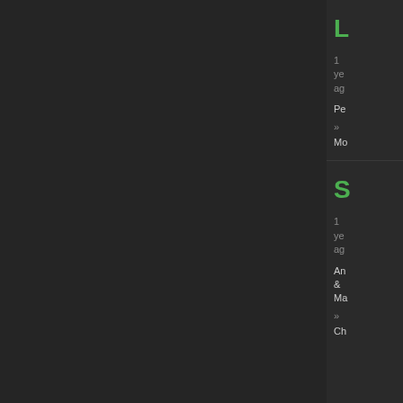L
1 year ago
Pe
» Mo
S
1 year ago
An & Ma
» Ch